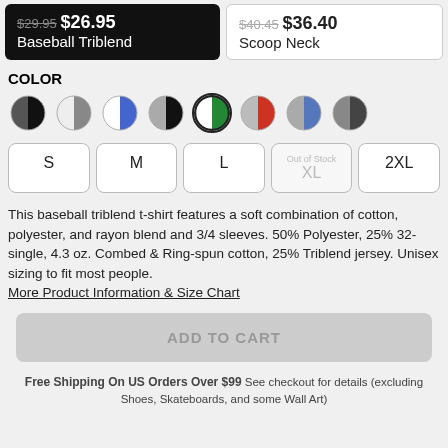$29.95 $26.95 Baseball Triblend
$40.45 $36.40 Scoop Neck
COLOR
[Figure (illustration): Eight circular color swatches: dark grey/black split, white/grey split, blue/white split, dark/grey split, white/green split (selected with border), red/grey split, blue/grey split, grey/dark split]
S M L XL (Out of Stock) 2XL
This baseball triblend t-shirt features a soft combination of cotton, polyester, and rayon blend and 3/4 sleeves. 50% Polyester, 25% 32-single, 4.3 oz. Combed & Ring-spun cotton, 25% Triblend jersey. Unisex sizing to fit most people.
More Product Information & Size Chart
ADD TO CART
Free Shipping On US Orders Over $99 See checkout for details (excluding Shoes, Skateboards, and some Wall Art)